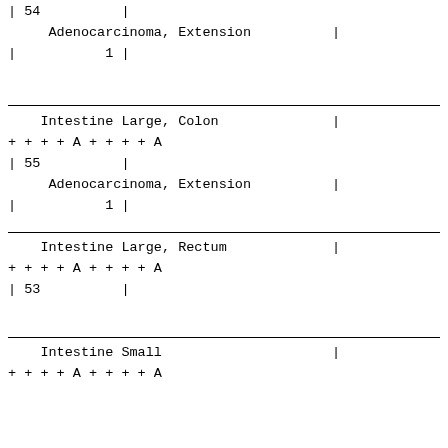| 54          |
     Adenocarcinoma, Extension          |
|           1 |
Intestine Large, Colon              |
+ + + + A + + + + A
| 55          |
     Adenocarcinoma, Extension          |
|           1 |
Intestine Large, Rectum             |
+ + + + A + + + + A
| 53          |
Intestine Small                     |
+ + + + A + + + + A